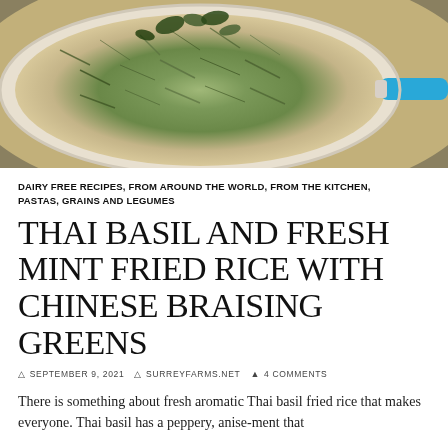[Figure (photo): Overhead photo of a blue pan containing Thai basil and mint fried rice with Chinese braising greens, garnished with fresh herb leaves]
DAIRY FREE RECIPES, FROM AROUND THE WORLD, FROM THE KITCHEN, PASTAS, GRAINS AND LEGUMES
THAI BASIL AND FRESH MINT FRIED RICE WITH CHINESE BRAISING GREENS
SEPTEMBER 9, 2021   SURREYFARMS.NET   4 COMMENTS
There is something about fresh aromatic Thai basil fried rice that makes everyone. Thai basil has a peppery, anise-ment that